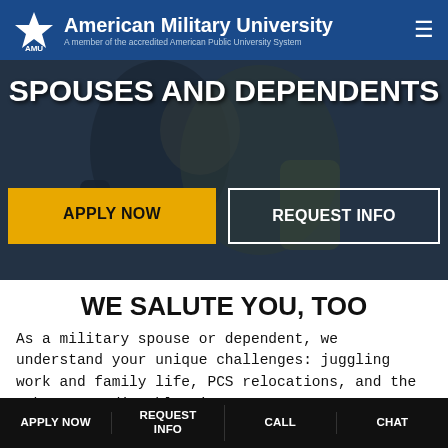American Military University — A member of the accredited American Public University System
SPOUSES AND DEPENDENTS
[Figure (photo): Hero background image showing military couple embracing, overlaid with text and buttons]
APPLY NOW
REQUEST INFO
WE SALUTE YOU, TOO
As a military spouse or dependent, we understand your unique challenges: juggling work and family life, PCS relocations, and the other unpredictable circumstances
APPLY NOW | REQUEST INFO | CALL | CHAT